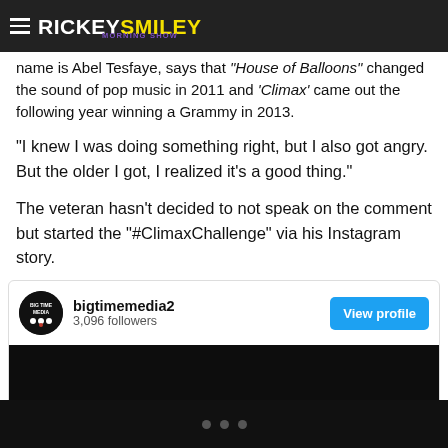RICKEY SMILEY MORNING SHOW
name is Abel Tesfaye, says that “House of Balloons” changed the sound of pop music in 2011 and ‘Climax’ came out the following year winning a Grammy in 2013.
“I knew I was doing something right, but I also got angry. But the older I got, I realized it’s a good thing.”
The veteran hasn’t decided to not speak on the comment but started the “#ClimaxChallenge” via his Instagram story.
[Figure (screenshot): Embedded social media post from bigtimemedia2 with 3,096 followers and a View profile button, below which is a dark video thumbnail]